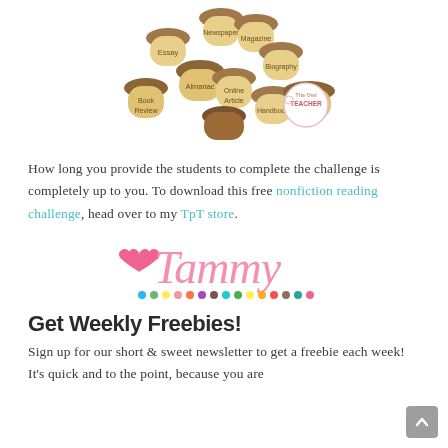[Figure (illustration): Acorns illustration with text labels: Newspaper, Magazine, Essay, Biography, Almanac, Online Article, Book Review, Handbook, Encyclopedia, with The Owl Teacher logo]
How long you provide the students to complete the challenge is completely up to you. To download this free nonfiction reading challenge, head over to my TpT store.
[Figure (logo): Tammy signature logo in pink cursive with a pink heart and colorful dots beneath]
Get Weekly Freebies!
Sign up for our short & sweet newsletter to get a freebie each week! It's quick and to the point, because you are